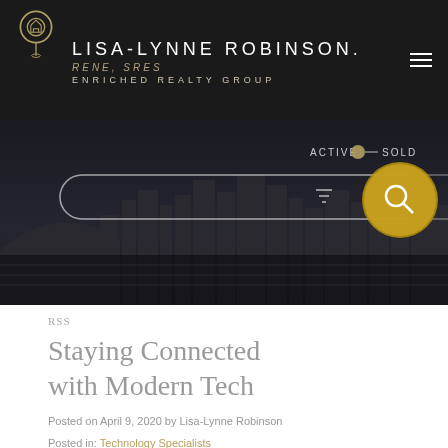LISA-LYNNE ROBINSON. RENE, SRES ENRICHED REALTY GROUP
[Figure (screenshot): City skyline at night with dark moody background, search bar overlay, ACTIVE/SOLD toggle, and gold search button]
RSS
Staying Connected with Modern Tech
Posted on April 9, 2020 by Lisa-Lynne Robinson
Posted in: Technology Specialists
[Figure (other): Social media icons: Twitter, Facebook, Pinterest]